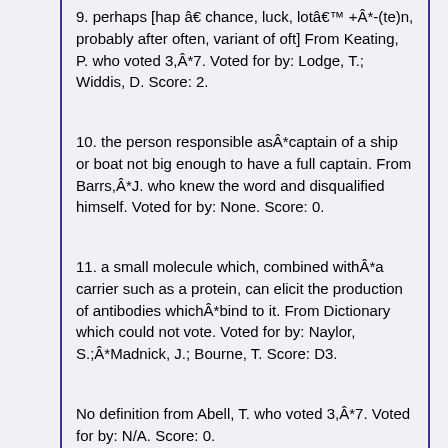9. perhaps [hap â€ chance, luck, lotâ€™ +Â*-(te)n, probably after often, variant of oft] From Keating, P. who voted 3,Â*7. Voted for by: Lodge, T.; Widdis, D. Score: 2.
10. the person responsible asÂ*captain of a ship or boat not big enough to have a full captain. From Barrs,Â*J. who knew the word and disqualified himself. Voted for by: None. Score: 0.
11. a small molecule which, combined withÂ*a carrier such as a protein, can elicit the production of antibodies whichÂ*bind to it. From Dictionary which could not vote. Voted for by: Naylor, S.;Â*Madnick, J.; Bourne, T. Score: D3.
No definition from Abell, T. who voted 3,Â*7. Voted for by: N/A. Score: 0.